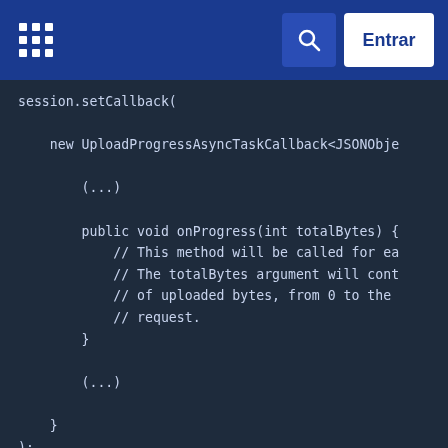Entrar
[Figure (screenshot): Navigation bar with grid logo, search icon, and Entrar button on blue background]
session.setCallback(

    new UploadProgressAsyncTaskCallback<JSONObje

        (...)

        public void onProgress(int totalBytes) {
            // This method will be called for ea
            // The totalBytes argument will con
            // of uploaded bytes, from 0 to the
            // request.
        }

        (...)

    }
);